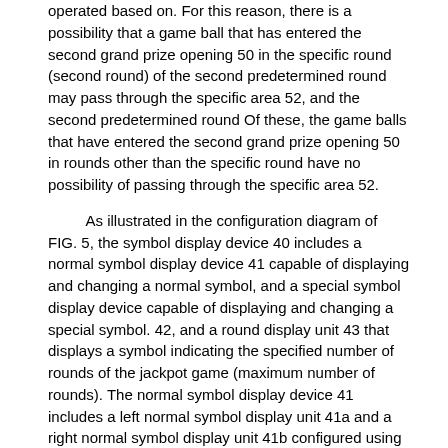operated based on. For this reason, there is a possibility that a game ball that has entered the second grand prize opening 50 in the specific round (second round) of the second predetermined round may pass through the specific area 52, and the second predetermined round Of these, the game balls that have entered the second grand prize opening 50 in rounds other than the specific round have no possibility of passing through the specific area 52.
As illustrated in the configuration diagram of FIG. 5, the symbol display device 40 includes a normal symbol display device 41 capable of displaying and changing a normal symbol, and a special symbol display device capable of displaying and changing a special symbol. 42, and a round display unit 43 that displays a symbol indicating the specified number of rounds of the jackpot game (maximum number of rounds). The normal symbol display device 41 includes a left normal symbol display unit 41a and a right normal symbol display unit 41b configured using light emitting diodes (LEDs). In FIG. 6, an example of the display mode of the normal symbol display device 41 is shown. As shown in the figure, the normal symbol display device 41 includes a display mode in which both the left